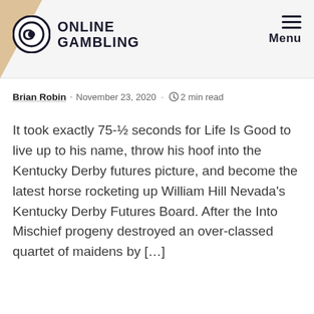Online Gambling | Menu
Brian Robin - November 23, 2020 · 2 min read
It took exactly 75-½ seconds for Life Is Good to live up to his name, throw his hoof into the Kentucky Derby futures picture, and become the latest horse rocketing up William Hill Nevada's Kentucky Derby Futures Board. After the Into Mischief progeny destroyed an over-classed quartet of maidens by […]